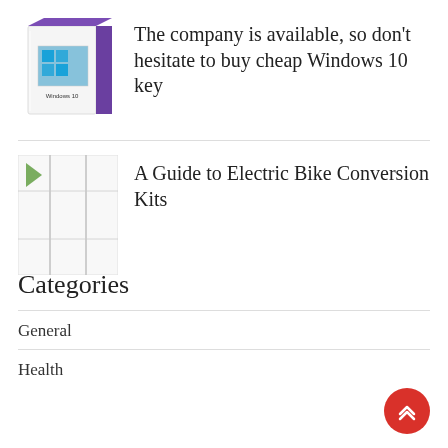[Figure (photo): Windows 10 product box with purple packaging]
The company is available, so don't hesitate to buy cheap Windows 10 key
[Figure (photo): Electric bike conversion kit image, partially visible]
A Guide to Electric Bike Conversion Kits
Categories
General
Health